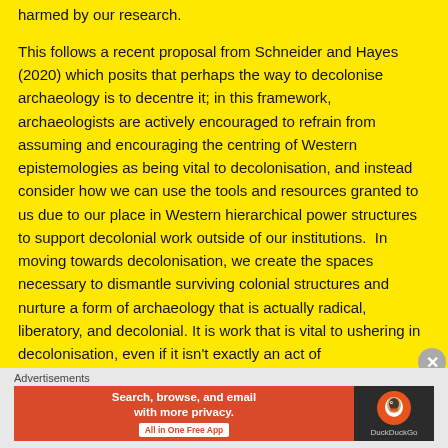harmed by our research.
This follows a recent proposal from Schneider and Hayes (2020) which posits that perhaps the way to decolonise archaeology is to decentre it; in this framework, archaeologists are actively encouraged to refrain from assuming and encouraging the centring of Western epistemologies as being vital to decolonisation, and instead consider how we can use the tools and resources granted to us due to our place in Western hierarchical power structures to support decolonial work outside of our institutions.  In moving towards decolonisation, we create the spaces necessary to dismantle surviving colonial structures and nurture a form of archaeology that is actually radical, liberatory, and decolonial. It is work that is vital to ushering in decolonisation, even if it isn't exactly an act of
Advertisements
[Figure (other): DuckDuckGo advertisement banner: Search, browse, and email with more privacy. All in One Free App. DuckDuckGo logo on dark background.]